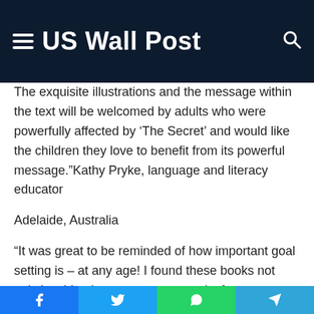US Wall Post
The exquisite illustrations and the message within the text will be welcomed by adults who were powerfully affected by ‘The Secret’ and would like the children they love to benefit from its powerful message.”Kathy Pryke, language and literacy educator
Adelaide, Australia
“It was great to be reminded of how important goal setting is – at any age! I found these books not only inspiring but a great opportunity for parents and kids to work on goal setting together. My four-year-old daughter really enjoyed compiling her collage. Becoming familiar with the well-researched material before starting helped me to make
Facebook | Twitter | WhatsApp | Telegram